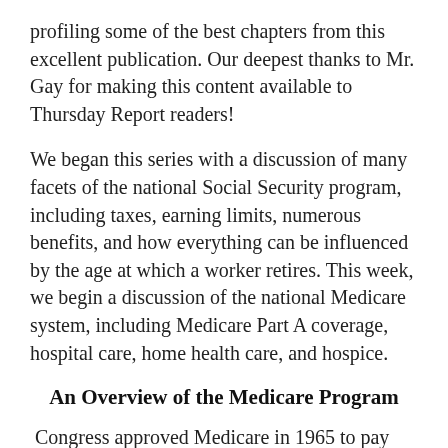profiling some of the best chapters from this excellent publication. Our deepest thanks to Mr. Gay for making this content available to Thursday Report readers!
We began this series with a discussion of many facets of the national Social Security program, including taxes, earning limits, numerous benefits, and how everything can be influenced by the age at which a worker retires. This week, we begin a discussion of the national Medicare system, including Medicare Part A coverage, hospital care, home health care, and hospice.
An Overview of the Medicare Program
Congress approved Medicare in 1965 to pay some of the cost of health care services for the aged. In order to receive this assistance with the